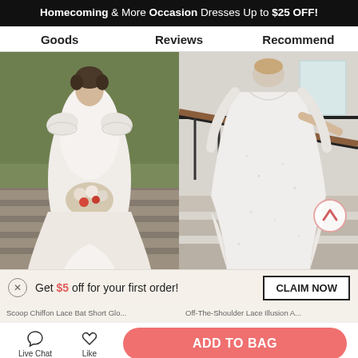Homecoming & More Occasion Dresses Up to $25 OFF!
Goods   Reviews   Recommend
[Figure (photo): Woman in white chiffon lace dress with short sleeves holding a bouquet of flowers outdoors]
[Figure (photo): Woman in off-the-shoulder lace illusion white dress standing on staircase, back view]
Get $5 off for your first order!
CLAIM NOW
Scoop Chiffon Lace Bat Short Glo...
Off-The-Shoulder Lace Illusion A...
ADD TO BAG
Live Chat
Like